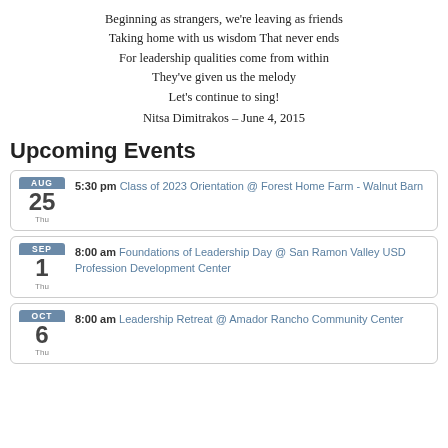Beginning as strangers, we're leaving as friends
Taking home with us wisdom That never ends
For leadership qualities come from within
They've given us the melody
Let's continue to sing!
Nitsa Dimitrakos – June 4, 2015
Upcoming Events
AUG 25 Thu — 5:30 pm Class of 2023 Orientation @ Forest Home Farm - Walnut Barn
SEP 1 Thu — 8:00 am Foundations of Leadership Day @ San Ramon Valley USD Profession Development Center
OCT 6 Thu — 8:00 am Leadership Retreat @ Amador Rancho Community Center